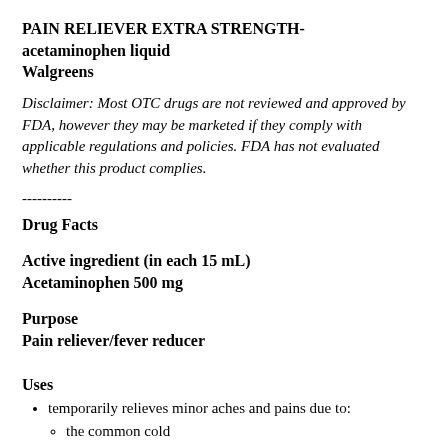PAIN RELIEVER EXTRA STRENGTH- acetaminophen liquid
Walgreens
Disclaimer: Most OTC drugs are not reviewed and approved by FDA, however they may be marketed if they comply with applicable regulations and policies. FDA has not evaluated whether this product complies.
----------
Drug Facts
Active ingredient (in each 15 mL)
Acetaminophen 500 mg
Purpose
Pain reliever/fever reducer
Uses
temporarily relieves minor aches and pains due to:
the common cold
headache